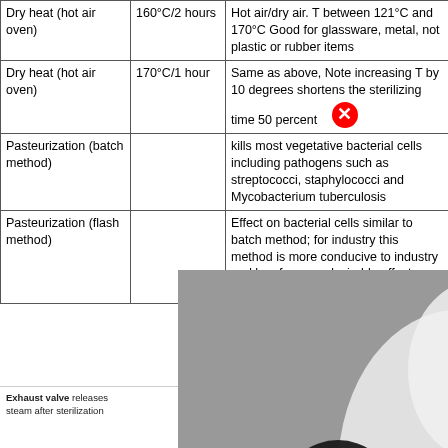| Method | Conditions | Notes/Effects |
| --- | --- | --- |
| Dry heat (hot air oven) | 160°C/2 hours | Hot air/dry air. T between 121°C and 170°C Good for glassware, metal, not plastic or rubber items |
| Dry heat (hot air oven) | 170°C/1 hour | Same as above, Note increasing T by 10 degrees shortens the sterilizing time 50 percent |
| Pasteurization (batch method) |  | kills most vegetative bacterial cells including pathogens such as streptococci, staphylococci and Mycobacterium tuberculosis |
| Pasteurization (flash method) |  | Effect on bacterial cells similar to batch method; for industry this method is more conducive to industry and has fewer undesirable effects on quality or taste |
[Figure (illustration): Advertisement overlay showing chess pieces (black and white chess figures in dramatic artistic style) partially covering the table content]
Exhaust valve releases steam after sterilization | Pressure gauge | Operating valve (controls steam from jacket to chamber)
[Figure (schematic): Partial diagram of an autoclave showing exhaust valve, pressure gauge, and operating valve labels at the bottom of the page]